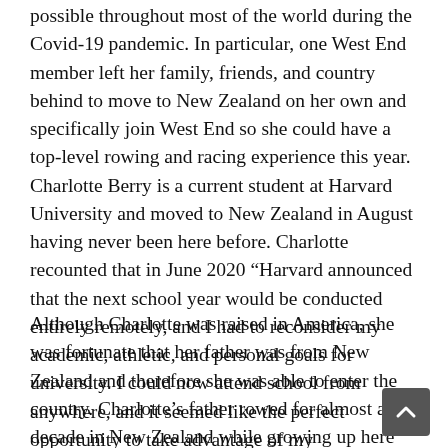possible throughout most of the world during the Covid-19 pandemic. In particular, one West End member left her family, friends, and country behind to move to New Zealand on her own and specifically join West End so she could have a top-level rowing and racing experience this year. Charlotte Berry is a current student at Harvard University and moved to New Zealand in August having never been here before. Charlotte recounted that in June 2020 “Harvard announced that the next school year would be conducted entirely remotely, and I had to reconsider my academic, athletic, and personal goals for university. I could now attend school from anywhere, and it seemed like the perfect opportunity to take advantage of my citizenships.”
Although Charlotte was raised in America, she was fortunate that her father was from New Zealand and therefore she was able to enter the country. Charlotte’s father rowed for almost a decade in New Zealand while growing up here and Charlotte says “I had always loved